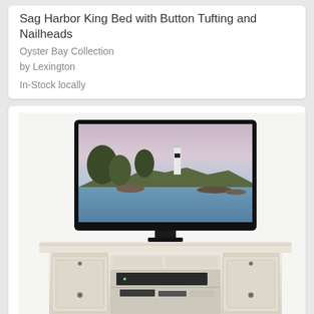Sag Harbor King Bed with Button Tufting and Nailheads
Oyster Bay Collection
by Lexington
In-Stock locally
[Figure (photo): A white distressed-finish media console/TV stand with a flat screen television on top displaying a coastal lighthouse scene. The console features drawers, cabinet doors with round knobs, and open shelving compartments in the center holding media equipment.]